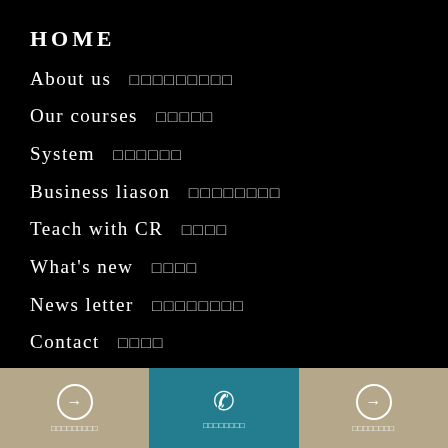HOME
About us　□□□□□□□□□
Our courses　□□□□□
System　□□□□□□
Business liason　□□□□□□□□
Teach with CR　□□□□
What's new　□□□□
News letter　□□□□□□□□
Contact　□□□□
Online lesson　□□□□□□□□□
Privacy Policy　□□□□□□□□□□
□□□□□□□□□　□□□□□□□□　□□□□□□□□